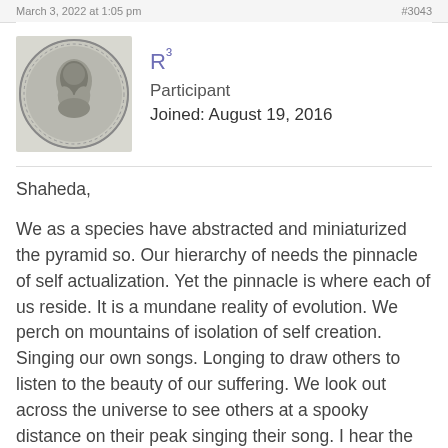March 3, 2022 at 1:05 pm    #3043
[Figure (photo): Circular avatar image showing an illustration or etching of a figure, black and white, within a circular border]
R³
Participant
Joined: August 19, 2016
Shaheda,

We as a species have abstracted and miniaturized the pyramid so. Our hierarchy of needs the pinnacle of self actualization. Yet the pinnacle is where each of us reside. It is a mundane reality of evolution. We perch on mountains of isolation of self creation. Singing our own songs. Longing to draw others to listen to the beauty of our suffering. We look out across the universe to see others at a spooky distance on their peak singing their song. I hear the grand harmony. It is all a myth … of mountains singing o'er the plains. The Siren song is a conversation of the highest order that we listen to in silent splendor … it reverberates as a whale song from the deep abyss … humanities longing